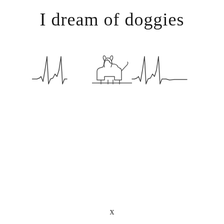I dream of doggies
[Figure (illustration): An EKG/heartbeat line with a small dog silhouette outline positioned in the center peak of the waveform. The line runs horizontally across, with typical ECG spikes on either side of the dog figure.]
x